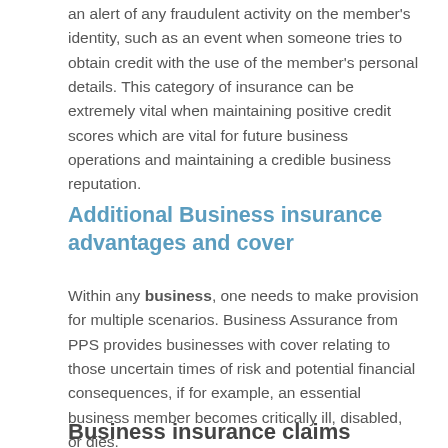an alert of any fraudulent activity on the member's identity, such as an event when someone tries to obtain credit with the use of the member's personal details. This category of insurance can be extremely vital when maintaining positive credit scores which are vital for future business operations and maintaining a credible business reputation.
Additional Business insurance advantages and cover
Within any business, one needs to make provision for multiple scenarios. Business Assurance from PPS provides businesses with cover relating to those uncertain times of risk and potential financial consequences, if for example, an essential business member becomes critically ill, disabled, or dies.
Business insurance claims